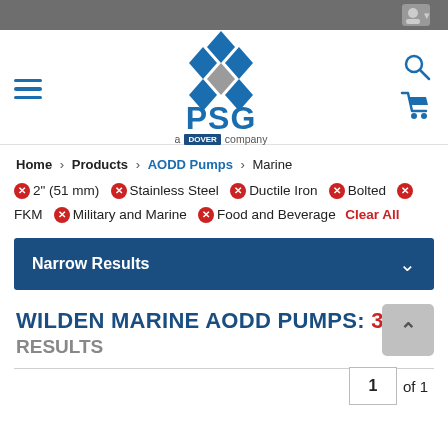[Figure (screenshot): Top gray navigation bar with user/account icon on the right]
[Figure (logo): PSG - a Dover company logo with diamond/rhombus icon pattern in blue and gray, with search and cart icons]
Home > Products > AODD Pumps > Marine
✕ 2" (51 mm)  ✕ Stainless Steel  ✕ Ductile Iron  ✕ Bolted  ✕ FKM  ✕ Military and Marine  ✕ Food and Beverage  Clear All
Narrow Results
WILDEN MARINE AODD PUMPS: 3 RESULTS
1  of 1